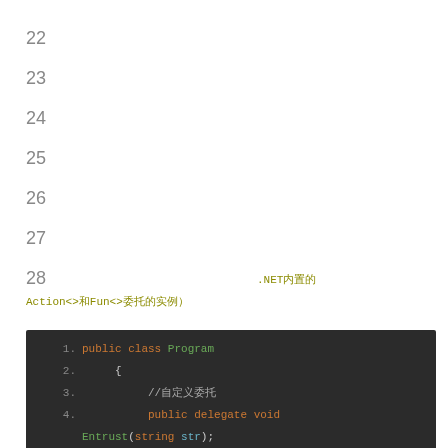22
23
24
25
26
27
28
（这些都是.NET内置的Action<>和Fun<>委托的实例）
[Figure (screenshot): Code editor screenshot showing C# code with dark background. Lines 1-5 visible: public class Program { //自定义委托 public delegate void Entrust(string str); static void Main(string[] args)]